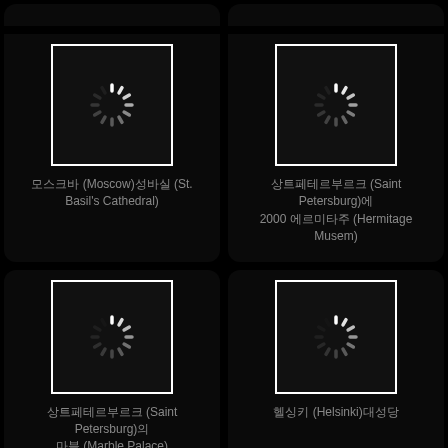[Figure (screenshot): Loading spinner image placeholder for Moscow St. Basil's Cathedral]
모스크바 (Moscow)성바실 (St. Basil's Cathedral)
[Figure (screenshot): Loading spinner image placeholder for Saint Petersburg Hermitage Museum]
상트페테르부르크 (Saint Petersburg)에 2000 에르미타주 (Hermitage Musem)
[Figure (screenshot): Loading spinner image placeholder for Saint Petersburg Marble Palace]
상트페테르부르크 (Saint Petersburg)의 마블 (Marble Palace)
[Figure (screenshot): Loading spinner image placeholder for Helsinki]
헬싱키 (Helsinki)대성당